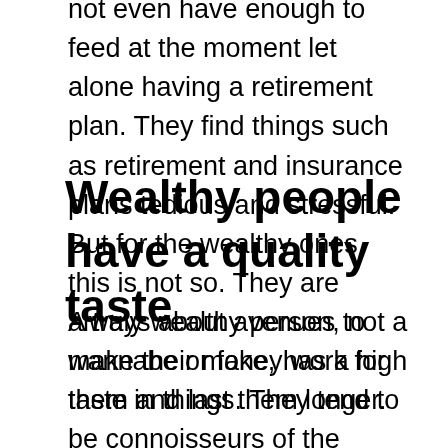not even have enough to feed at the moment let alone having a retirement plan. They find things such as retirement and insurance plans tedious and stressful. But for the wealthy ones, this is not so. They are always about avenues to make their money work for them and last them longer.
Wealthy people have a quality taste
A truly wealthy person, not a wannabe or fake, has a high taste in things. They tend to be connoisseurs of the finest tastes in foods, drinks, music, movies, books, philosophies, vacation destinations, organizations, associations, clubs, etc. They do not go for mass-populated things. In most ways, they are always steps above the masses. You will find that their liking for things